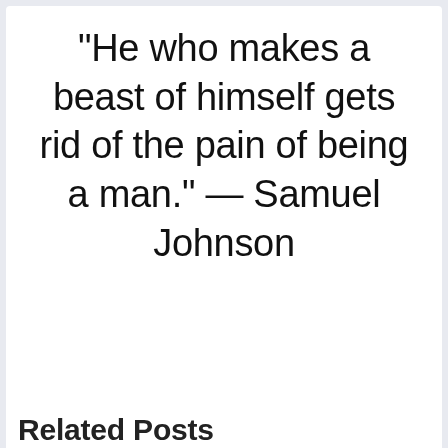"He who makes a beast of himself gets rid of the pain of being a man." — Samuel Johnson
Related Posts